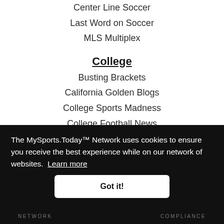Center Line Soccer
Last Word on Soccer
MLS Multiplex
College
Busting Brackets
California Golden Blogs
College Sports Madness
College Football News
Rule Of Tree
Saturday Blitz
The MySports.Today™ Network uses cookies to ensure you receive the best experience while on our network of websites. Learn more
Got it!
NETWORK   COMPLIANCE